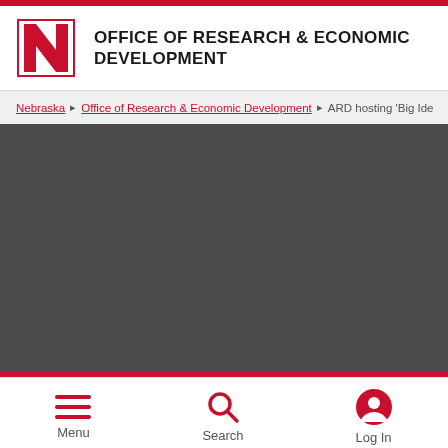OFFICE OF RESEARCH & ECONOMIC DEVELOPMENT
Nebraska › Office of Research & Economic Development › ARD hosting 'Big Ide
[Figure (photo): Dark gray rectangular image area, likely a banner or hero image for the page content]
Menu   Search   Log In